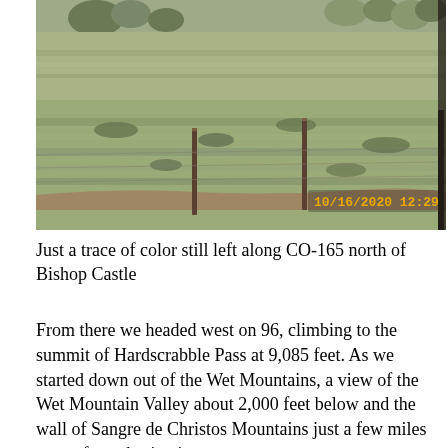[Figure (photo): A landscape photograph showing a dry grassy field with fence posts, sparse scrubby vegetation, and trees in the background under an overcast sky. A timestamp reads '10/16/2020 12:29' in the lower right corner.]
Just a trace of color still left along CO-165 north of Bishop Castle
From there we headed west on 96, climbing to the summit of Hardscrabble Pass at 9,085 feet. As we started down out of the Wet Mountains, a view of the Wet Mountain Valley about 2,000 feet below and the wall of Sangre de Christos Mountains just a few miles west of our destination